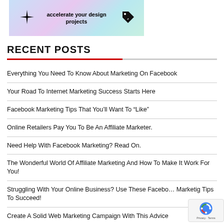[Figure (illustration): Banner image with gradient background (blue, pink, teal), decorative star/sparkle icon on left, price tag icon on right, and bold text 'accelerate your design projects']
RECENT POSTS
Everything You Need To Know About Marketing On Facebook
Your Road To Internet Marketing Success Starts Here
Facebook Marketing Tips That You'll Want To “Like”
Online Retailers Pay You To Be An Affiliate Marketer.
Need Help With Facebook Marketing? Read On.
The Wonderful World Of Affiliate Marketing And How To Make It Work For You!
Struggling With Your Online Business? Use These Facebook Marketig Tips To Succeed!
Create A Solid Web Marketing Campaign With This Advice